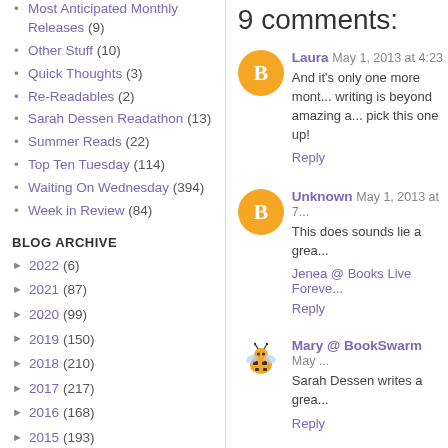Most Anticipated Monthly Releases (9)
Other Stuff (10)
Quick Thoughts (3)
Re-Readables (2)
Sarah Dessen Readathon (13)
Summer Reads (22)
Top Ten Tuesday (114)
Waiting On Wednesday (394)
Week in Review (84)
BLOG ARCHIVE
► 2022 (6)
► 2021 (87)
► 2020 (99)
► 2019 (150)
► 2018 (210)
► 2017 (217)
► 2016 (168)
► 2015 (193)
9 comments:
Laura May 1, 2013 at 4:23
And it's only one more mont... writing is beyond amazing a... pick this one up!
Reply
Unknown May 1, 2013 at 7...
This does sounds lie a grea...
Jenea @ Books Live Foreve...
Reply
Mary @ BookSwarm May ...
Sarah Dessen writes a grea...
Reply
▼ Replies